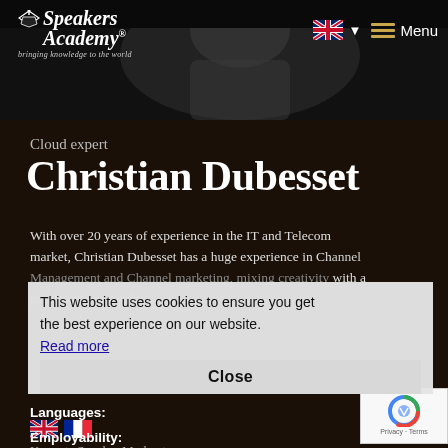[Figure (screenshot): Speakers Academy website header with logo, UK flag language selector, and hamburger Menu button on dark background with blurred figure]
bringing knowledge to the world
Cloud expert
Christian Dubesset
With over 20 years of experience in the IT and Telecom market, Christian Dubesset has a huge experience in Channel Management and Channel marketing, mixing creativity with a good sense of results...
This website uses cookies to ensure you get the best experience on our website.
Read more
Close
Languages:
Employability:
Keynote Speaker,Moderator